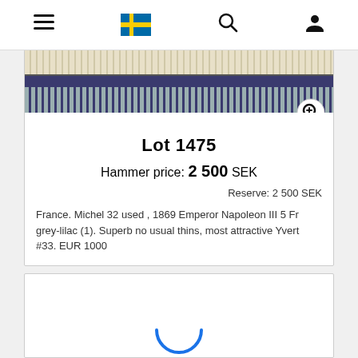Navigation bar with menu, Swedish flag, search, and user icons
[Figure (photo): Partial view of a philatelic stamp — dark blue background with perforated edges and a decorative strip at top]
Lot 1475
Hammer price: 2 500 SEK
Reserve: 2 500 SEK
France. Michel 32 used , 1869 Emperor Napoleon III 5 Fr grey-lilac (1). Superb no usual thins, most attractive Yvert #33. EUR 1000
[Figure (screenshot): Second auction lot card, partially visible at bottom of page, with a blue circular loading/zoom icon]